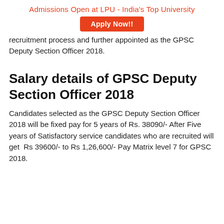Admissions Open at LPU - India's Top University
[Figure (other): Orange 'Apply Now!!' button]
recruitment process and further appointed as the GPSC Deputy Section Officer 2018.
Salary details of GPSC Deputy Section Officer 2018
Candidates selected as the GPSC Deputy Section Officer 2018 will be fixed pay for 5 years of Rs. 38090/- After Five years of Satisfactory service candidates who are recruited will get  Rs 39600/- to Rs 1,26,600/- Pay Matrix level 7 for GPSC 2018.